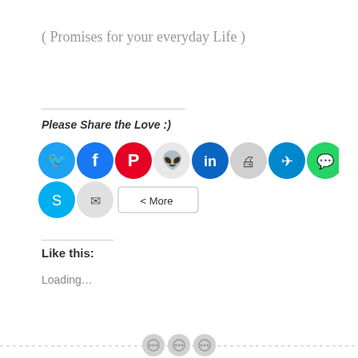( Promises for your everyday Life )
Please Share the Love :)
[Figure (infographic): Row of social media sharing icon buttons: Twitter (blue), Facebook (dark blue), Pinterest (red), Reddit (light grey), LinkedIn (dark blue), Print (grey), Telegram (blue), WhatsApp (green), Skype (cyan), Email (grey), followed by a More button.]
Like this:
Loading...